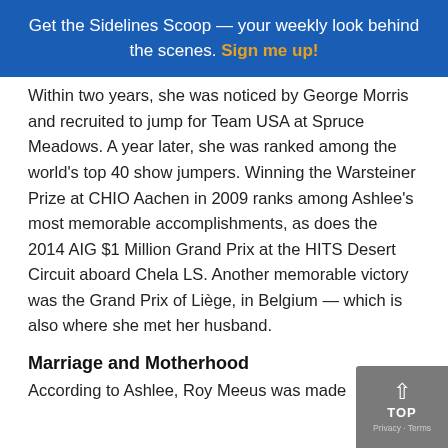Get the Sidelines Scoop — your weekly look behind the scenes. Sign me up!
Within two years, she was noticed by George Morris and recruited to jump for Team USA at Spruce Meadows. A year later, she was ranked among the world's top 40 show jumpers. Winning the Warsteiner Prize at CHIO Aachen in 2009 ranks among Ashlee's most memorable accomplishments, as does the 2014 AIG $1 Million Grand Prix at the HITS Desert Circuit aboard Chela LS. Another memorable victory was the Grand Prix of Liège, in Belgium — which is also where she met her husband.
Marriage and Motherhood
According to Ashlee, Roy Meeus was made